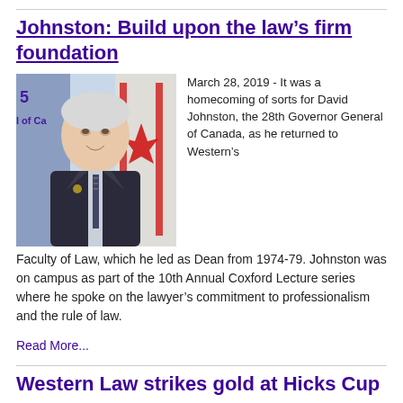Johnston: Build upon the law’s firm foundation
[Figure (photo): Photo of David Johnston, an older man in a dark suit with a striped tie, smiling, with a Canadian flag in the background and a Western University banner partially visible.]
March 28, 2019 - It was a homecoming of sorts for David Johnston, the 28th Governor General of Canada, as he returned to Western’s Faculty of Law, which he led as Dean from 1974-79. Johnston was on campus as part of the 10th Annual Coxford Lecture series where he spoke on the lawyer’s commitment to professionalism and the rule of law.
Read More...
Western Law strikes gold at Hicks Cup